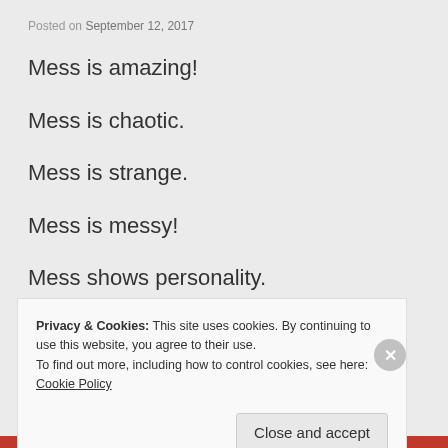Posted on September 12, 2017
Mess is amazing!
Mess is chaotic.
Mess is strange.
Mess is messy!
Mess shows personality.
Privacy & Cookies: This site uses cookies. By continuing to use this website, you agree to their use.
To find out more, including how to control cookies, see here: Cookie Policy
Close and accept